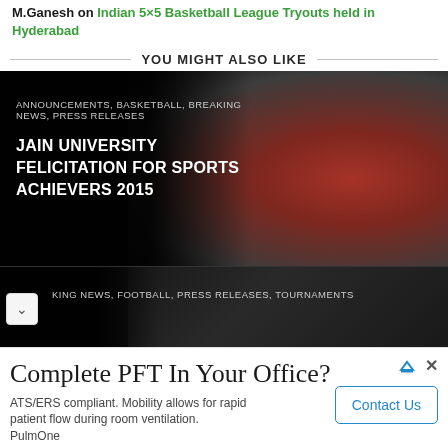M.Ganesh on Indian 5×5 Basketball League Tryouts held in Hyderabad
YOU MIGHT ALSO LIKE
[Figure (photo): Dark card with group photo of sports achievers at Jain University. Tags: ANNOUNCEMENTS, BASKETBALL, BREAKING NEWS, PRESS RELEASES. Title: JAIN UNIVERSITY FELICITATION FOR SPORTS ACHIEVERS 2015]
[Figure (photo): Dark card with partial view of another article. Tags: KING NEWS, FOOTBALL, PRESS RELEASES, TOURNAMENTS. Has a chevron/down arrow button on the left.]
[Figure (screenshot): Advertisement: Complete PFT In Your Office? ATS/ERS compliant. Mobility allows for rapid patient flow during room ventilation. PulmOne. Contact Us button.]